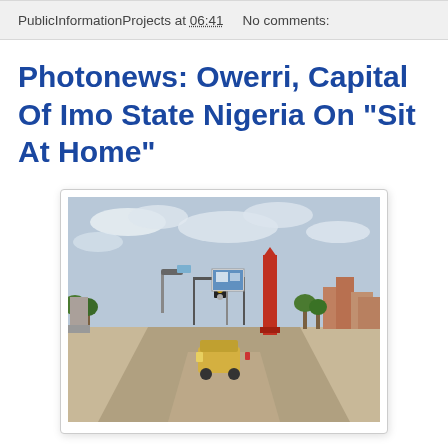PublicInformationProjects at 06:41    No comments:
Photonews: Owerri, Capital Of Imo State Nigeria On "Sit At Home"
[Figure (photo): Street scene in Owerri, capital of Imo State Nigeria, showing an empty road with a vehicle, a tall red tower/monument, billboard, traffic lights on a gantry, trees and buildings in the background, and a partly cloudy sky.]